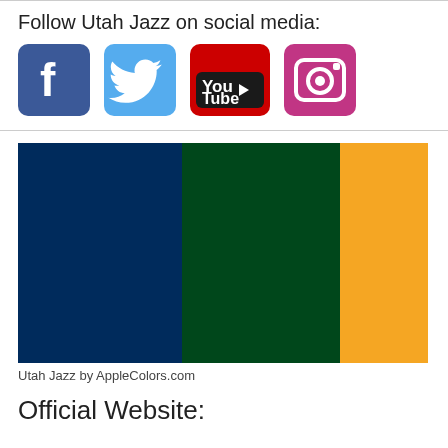Follow Utah Jazz on social media:
[Figure (illustration): Four social media icons: Facebook (blue rounded square with 'f'), Twitter (light blue rounded square with bird), YouTube (red/dark rounded square with 'You Tube' text), Instagram (pink/magenta rounded square with camera icon)]
[Figure (infographic): Utah Jazz team color swatches: navy blue, dark green, and gold/orange rectangles side by side]
Utah Jazz by AppleColors.com
Official Website: